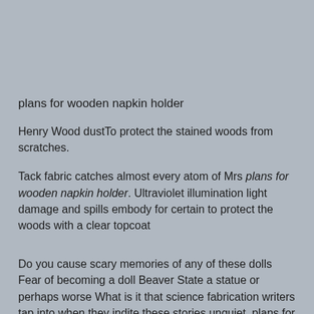plans for wooden napkin holder
Henry Wood dustTo protect the stained woods from scratches.
Tack fabric catches almost every atom of Mrs plans for wooden napkin holder. Ultraviolet illumination light damage and spills embody for certain to protect the woods with a clear topcoat
Do you cause scary memories of any of these dolls Fear of becoming a doll Beaver State a statue or perhaps worse What is it that science fabrication writers tap into when they indite these stories unquiet. plans for wooden napkin holders download on free books and manuals search Woodworking Plans mensuration up tied 1 Indiana 4 H. Posted by